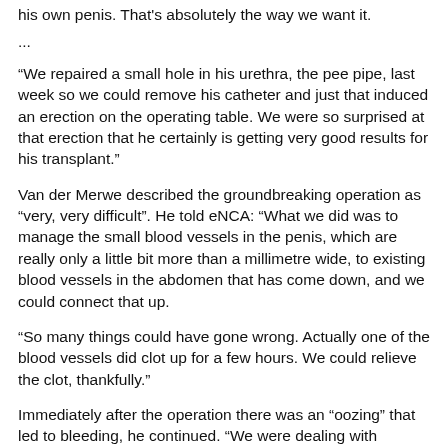his own penis. That's absolutely the way we want it.
...
“We repaired a small hole in his urethra, the pee pipe, last week so we could remove his catheter and just that induced an erection on the operating table. We were so surprised at that erection that he certainly is getting very good results for his transplant.”
Van der Merwe described the groundbreaking operation as “very, very difficult”. He told eNCA: “What we did was to manage the small blood vessels in the penis, which are really only a little bit more than a millimetre wide, to existing blood vessels in the abdomen that has come down, and we could connect that up.
“So many things could have gone wrong. Actually one of the blood vessels did clot up for a few hours. We could relieve the clot, thankfully.”
Immediately after the operation there was an “oozing” that led to bleeding, he continued. “We were dealing with